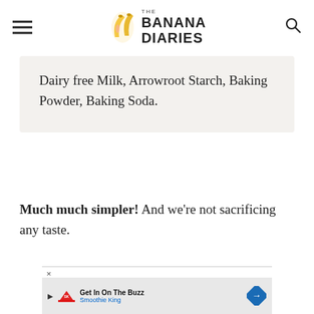THE BANANA DIARIES
Dairy free Milk, Arrowroot Starch, Baking Powder, Baking Soda.
Much much simpler! And we're not sacrificing any taste.
MY LATEST VIDEOS
[Figure (screenshot): Black video player embedded on page]
[Figure (screenshot): Advertisement banner for Smoothie King with play icon, logo, text 'Get In On The Buzz / Smoothie King' and a blue diamond arrow icon]